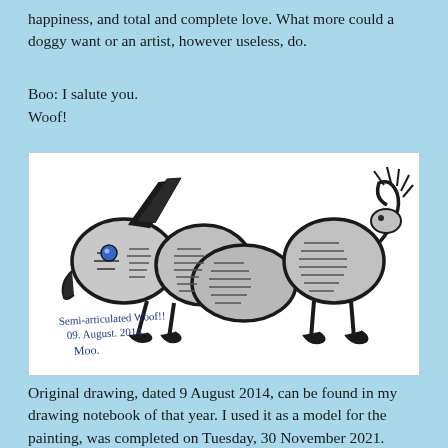happiness, and total and complete love. What more could a doggy want or an artist, however useless, do.
Boo: I salute you.
Woof!
[Figure (illustration): A child-like pencil drawing of a dachshund dog made up of oval/egg shapes for body segments, with a head on the left, ears, a blue eye, four legs, and a curled tail on the right. Handwritten inscription reads: Semi-articulated Woof!! 09. August. 2014 Moo.]
Original drawing, dated 9 August 2014, can be found in my drawing notebook of that year. I used it as a model for the painting, was completed on Tuesday, 30 November 2021.